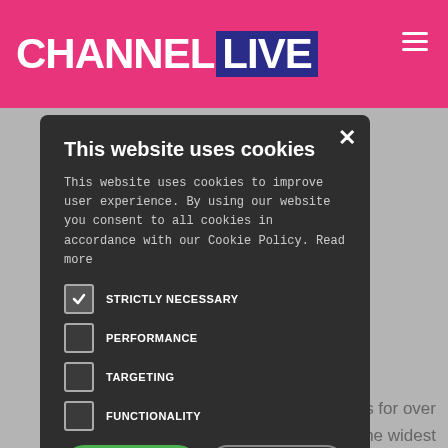CHANNEL LIVE
This website uses cookies
This website uses cookies to improve user experience. By using our website you consent to all cookies in accordance with our Cookie Policy. Read more
STRICTLY NECESSARY (checked)
PERFORMANCE
TARGETING
FUNCTIONALITY
ACCEPT ALL
DECLINE ALL
SHOW DETAILS